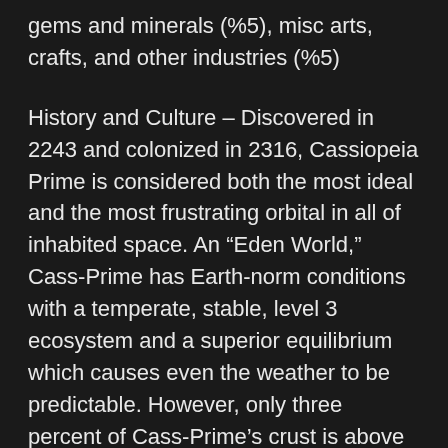gems and minerals (%5), misc arts, crafts, and other industries (%5)
History and Culture – Discovered in 2243 and colonized in 2316, Cassiopeia Prime is considered both the most ideal and the most frustrating orbital in all of inhabited space. An “Eden World,” Cass-Prime has Earth-norm conditions with a temperate, stable, level 3 ecosystem and a superior equilibrium which causes even the weather to be predictable. However, only three percent of Cass-Prime’s crust is above sea level and only seven percent of that mass can be developed without risk to the planet’s ecosystem. Although Cass-Prime has always been a part of the New Organization of Federal Banking Worlds, its unique role as a crossroads for commerce, as well as its mix of urban centers and agricultural industries, has given it a greater cultural-political autonomy than most NOFBW bodies, as well as a liberal sensibility and a